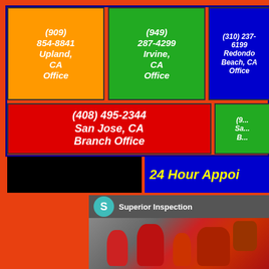(909) 854-8841 Upland, CA Office
(949) 287-4299 Irvine, CA Office
(310) 237-6199 Redondo Beach, CA Office
(408) 495-2344 San Jose, CA Branch Office
24 Hour Appoi[ntments]
[Figure (photo): Superior Inspection company social media card with teal avatar circle showing 'S', and a photo of red fire suppression equipment/sprinkler system components in an industrial setting]